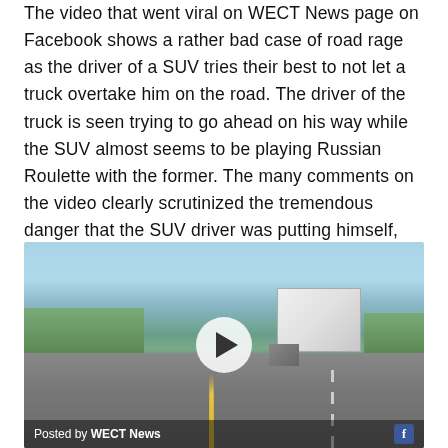The video that went viral on WECT News page on Facebook shows a rather bad case of road rage as the driver of a SUV tries their best to not let a truck overtake him on the road. The driver of the truck is seen trying to go ahead on his way while the SUV almost seems to be playing Russian Roulette with the former. The many comments on the video clearly scrutinized the tremendous danger that the SUV driver was putting himself, the truck driver and everybody else in as well.
[Figure (screenshot): Video thumbnail showing a road scene from a dashboard camera perspective. A large white semi-truck trailer is visible ahead on a highway. A play button (white circle with triangle) is overlaid in the center. At the bottom a bar reads 'Posted by WECT News' with a Facebook icon.]